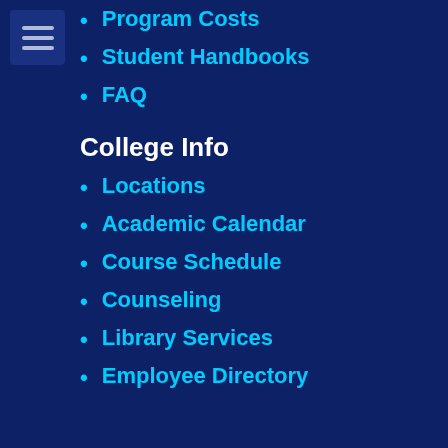Program Costs
Student Handbooks
FAQ
College Info
Locations
Academic Calendar
Course Schedule
Counseling
Library Services
Employee Directory